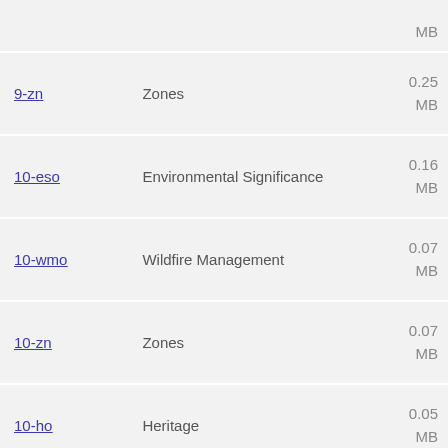| Link | Description | Size |
| --- | --- | --- |
|  |  | MB |
| 9-zn | Zones | 0.25 MB |
| 10-eso | Environmental Significance | 0.16 MB |
| 10-wmo | Wildfire Management | 0.07 MB |
| 10-zn | Zones | 0.07 MB |
| 10-ho | Heritage | 0.05 MB |
| 10-lsio | Land Subject to Inundation | 0.06 MB |